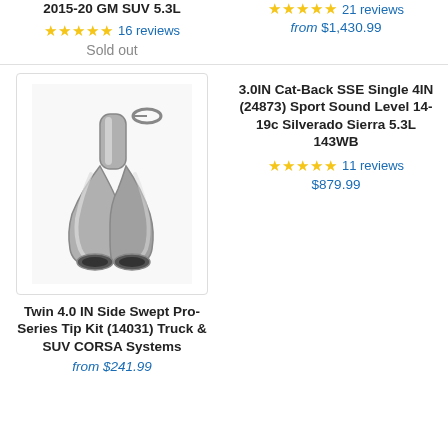2015-20 GM SUV 5.3L
★★★★★ 16 reviews
Sold out
★★★★★ 21 reviews
from $1,430.99
[Figure (photo): Twin 4.0 IN Side Swept Pro-Series exhaust tip kit, metallic Y-shaped dual tip]
Twin 4.0 IN Side Swept Pro-Series Tip Kit (14031) Truck & SUV CORSA Systems
from $241.99
3.0IN Cat-Back SSE Single 4IN (24873) Sport Sound Level 14-19c Silverado Sierra 5.3L 143WB
★★★★★ 11 reviews
$879.99